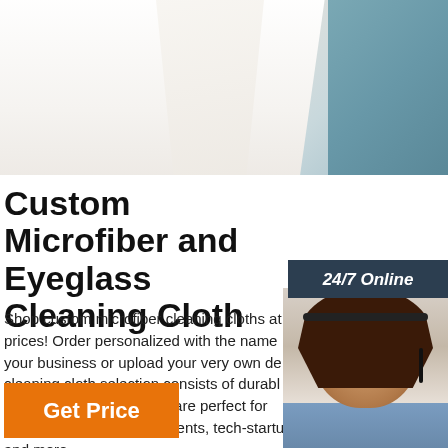[Figure (photo): Top banner showing white lab coat/jacket on left and teal background on right, representing a product/service page background image]
[Figure (photo): 24/7 Online box with headset customer service lady smiling, with dark navy background header saying '24/7 Online', and below a 'Click here for free chat!' text in orange and an orange QUOTATION button]
Custom Microfiber and Eyeglass Cleaning Cloth
Shop custom microfiber cleaning cloths at prices! Order personalized with the name your business or upload your very own de cleaning cloth selection consists of durabl long-lasting varieties that are perfect for trade shows, corporate events, tech-startups and more.
[Figure (logo): Orange TOP logo with upward arrow dots above the word TOP]
Get Price